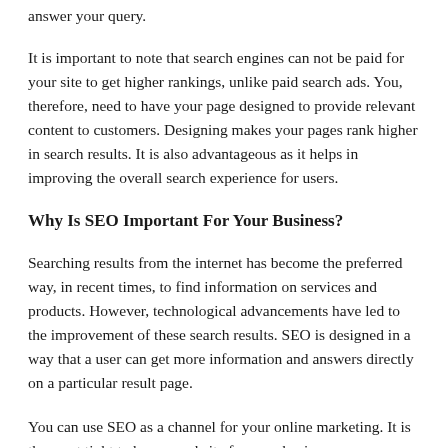answer your query.
It is important to note that search engines can not be paid for your site to get higher rankings, unlike paid search ads. You, therefore, need to have your page designed to provide relevant content to customers. Designing makes your pages rank higher in search results. It is also advantageous as it helps in improving the overall search experience for users.
Why Is SEO Important For Your Business?
Searching results from the internet has become the preferred way, in recent times, to find information on services and products. However, technological advancements have led to the improvement of these search results. SEO is designed in a way that a user can get more information and answers directly on a particular result page.
You can use SEO as a channel for your online marketing. It is the most tight to have a website for your business...